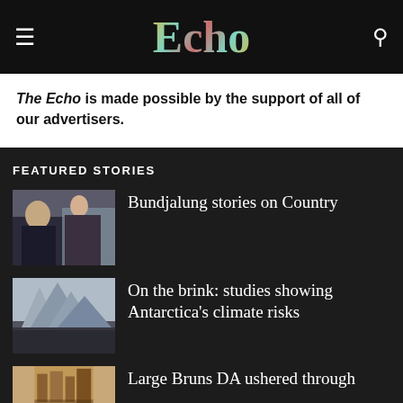Echo
The Echo is made possible by the support of all of our advertisers.
FEATURED STORIES
[Figure (photo): Two people sitting together outdoors, one appears to be reading]
Bundjalung stories on Country
[Figure (photo): A large iceberg floating in dark water against a grey sky]
On the brink: studies showing Antarctica's climate risks
[Figure (photo): Exterior of a modern building with tan/brick facade]
Large Bruns DA ushered through